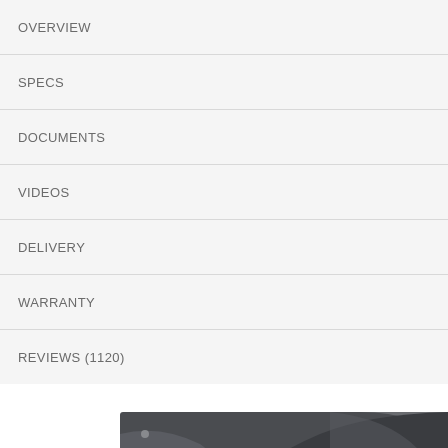OVERVIEW
SPECS
DOCUMENTS
VIDEOS
DELIVERY
WARRANTY
REVIEWS (1120)
[Figure (photo): Close-up photo of a dark grey automotive or industrial product component, partially visible at the bottom of the page, with a back-to-top button overlay in the bottom right corner]